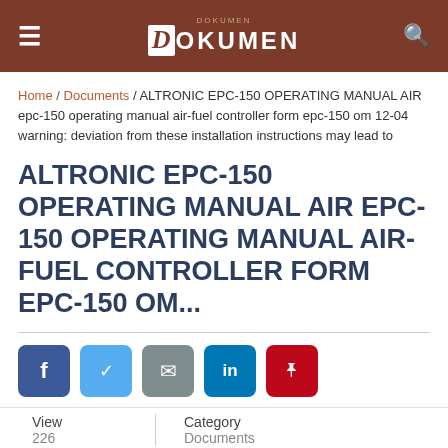DOKUMEN
Home / Documents / ALTRONIC EPC-150 OPERATING MANUAL AIR epc-150 operating manual air-fuel controller form epc-150 om 12-04 warning: deviation from these installation instructions may lead to
ALTRONIC EPC-150 OPERATING MANUAL AIR EPC-150 OPERATING MANUAL AIR-FUEL CONTROLLER FORM EPC-150 OM...
[Figure (infographic): Social sharing buttons: Facebook (blue), Twitter (light blue), Email (gray), LinkedIn (blue), Pinterest (red)]
| View | Category |
| --- | --- |
| 226 | Documents |
Download   Report